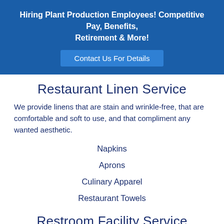Hiring Plant Production Employees! Competitive Pay, Benefits, Retirement & More!
Contact Us For Details
Restaurant Linen Service
We provide linens that are stain and wrinkle-free, that are comfortable and soft to use, and that compliment any wanted aesthetic.
Napkins
Aprons
Culinary Apparel
Restaurant Towels
Restroom Facility Service
We provide a comprehensive supply service for El Cajon businesses that take care of restocking and maintenance. A clean